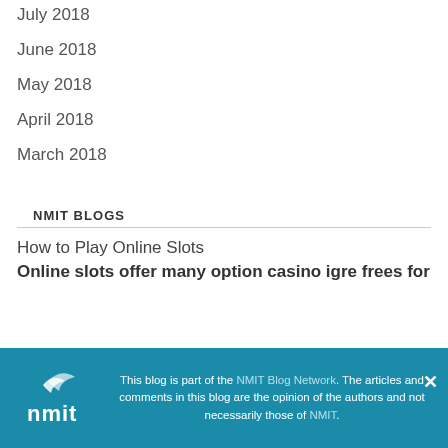July 2018
June 2018
May 2018
April 2018
March 2018
NMIT BLOGS
How to Play Online Slots
Online slots offer many option casino igre frees for
This blog is part of the NMIT Blog Network. The articles and comments in this blog are the opinion of the authors and not necessarily those of NMIT.